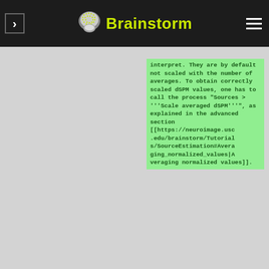Brainstorm
[Figure (screenshot): Screenshot of Brainstorm software documentation page showing a code/wiki text block with green highlighted text about dSPM scaling. The text reads: 'interpret. They are by default not scaled with the number of averages. To obtain correctly scaled dSPM values, one has to call the process "Sources > '''Scale averaged dSPM'''", as explained in the advanced section [[https://neuroimage.usc.edu/brainstorm/Tutorials/SourceEstimation#Averaging_normalized_values|Averaging normalized values]].  *']
Tutorial 22: Source estimation
Authors: Francois Tadel, Elizabeth Bock, Rey R Ramirez, John C Mosher, Richard M Leahy, Sylvain Baillet